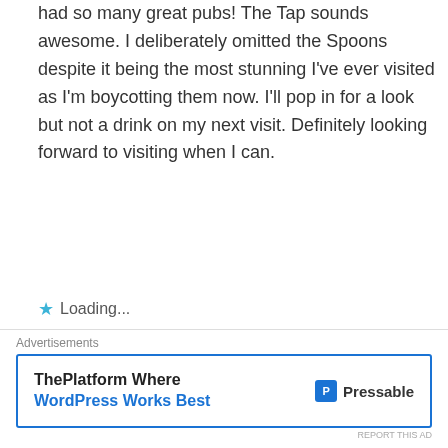had so many great pubs! The Tap sounds awesome. I deliberately omitted the Spoons despite it being the most stunning I've ever visited as I'm boycotting them now. I'll pop in for a look but not a drink on my next visit. Definitely looking forward to visiting when I can.
Loading...
Reply
retiredmartin says: December 3, 2020 at 7:05 pm
[Figure (other): Advertisement banner for Pressable WordPress hosting: 'ThePlatform Where WordPress Works Best' with Pressable logo]
Advertisements